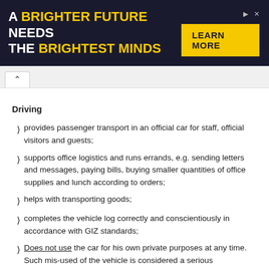[Figure (other): Advertisement banner with dark navy background. Large bold text reads 'A BRIGHTER FUTURE NEEDS THE BRIGHTEST MINDS' with 'BRIGHTER FUTURE' and 'BRIGHTEST MINDS' in yellow. Right side has a yellow 'LEARN MORE' button and small skip/close icons.]
Driving
provides passenger transport in an official car for staff, official visitors and guests;
supports office logistics and runs errands, e.g. sending letters and messages, paying bills, buying smaller quantities of office supplies and lunch according to orders;
helps with transporting goods;
completes the vehicle log correctly and conscientiously in accordance with GIZ standards;
Does not use the car for his own private purposes at any time. Such mis-used of the vehicle is considered a serious misconduct, and will immediately lead to a warning and may result in dismissal.